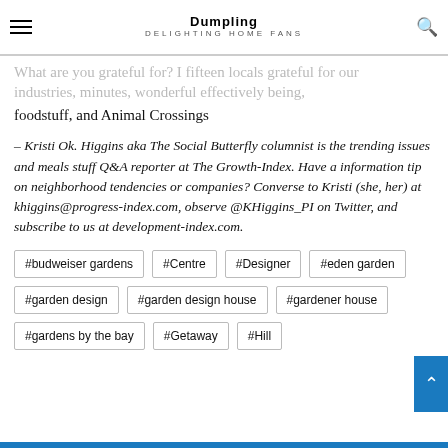Dumpling DELIGHTING HOME FANS
What are you grateful for? I fifteen locals grateful for our industries, minutes, wonderful effectively being, foodstuff, and Animal Crossings
– Kristi Ok. Higgins aka The Social Butterfly columnist is the trending issues and meals stuff Q&A reporter at The Growth-Index. Have a information tip on neighborhood tendencies or companies? Converse to Kristi (she, her) at khiggins@progress-index.com, observe @KHiggins_PI on Twitter, and subscribe to us at development-index.com.
#budweiser gardens
#Centre
#Designer
#eden garden
#garden design
#garden design house
#gardener house
#gardens by the bay
#Getaway
#Hill